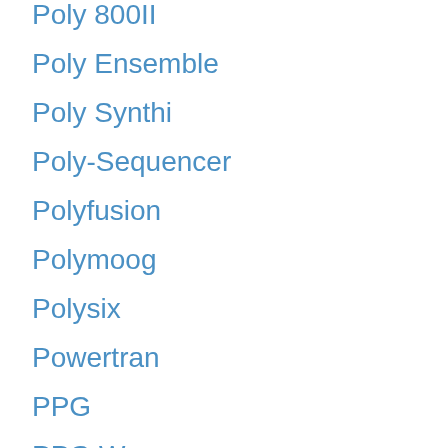Poly 800II
Poly Ensemble
Poly Synthi
Poly-Sequencer
Polyfusion
Polymoog
Polysix
Powertran
PPG
PPG Wave
PR-100
PR-7
Prelude